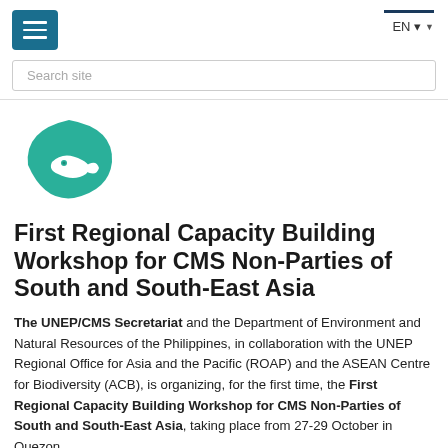EN
[Figure (logo): CMS (Convention on Migratory Species) logo — a teal/green fish inside a leaf or bowl shape]
First Regional Capacity Building Workshop for CMS Non-Parties of South and South-East Asia
The UNEP/CMS Secretariat and the Department of Environment and Natural Resources of the Philippines, in collaboration with the UNEP Regional Office for Asia and the Pacific (ROAP) and the ASEAN Centre for Biodiversity (ACB), is organizing, for the first time, the First Regional Capacity Building Workshop for CMS Non-Parties of South and South-East Asia, taking place from 27-29 October in Quezon